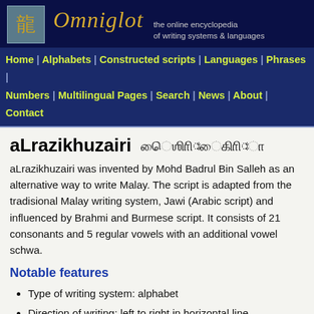Omniglot — the online encyclopedia of writing systems & languages
Home | Alphabets | Constructed scripts | Languages | Phrases | Numbers | Multilingual Pages | Search | News | About | Contact
aLrazikhuzairi
aLrazikhuzairi was invented by Mohd Badrul Bin Salleh as an alternative way to write Malay. The script is adapted from the tradisional Malay writing system, Jawi (Arabic script) and influenced by Brahmi and Burmese script. It consists of 21 consonants and 5 regular vowels with an additional vowel schwa.
Notable features
Type of writing system: alphabet
Direction of writing: left to right in horizontal line
Use to write: Malay